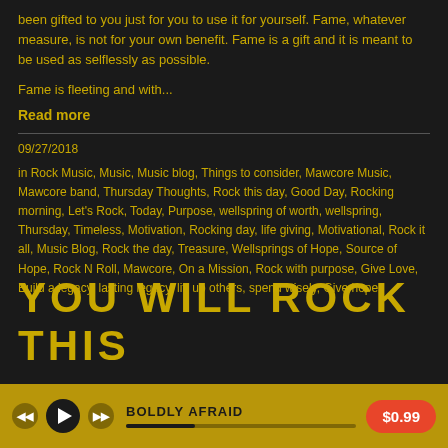been gifted to you just for you to use it for yourself. Fame, whatever measure, is not for your own benefit. Fame is a gift and it is meant to be used as selflessly as possible.
Fame is fleeting and with...
Read more
09/27/2018
in Rock Music, Music, Music blog, Things to consider, Mawcore Music, Mawcore band, Thursday Thoughts, Rock this day, Good Day, Rocking morning, Let's Rock, Today, Purpose, wellspring of worth, wellspring, Thursday, Timeless, Motivation, Rocking day, life giving, Motivational, Rock it all, Music Blog, Rock the day, Treasure, Wellsprings of Hope, Source of Hope, Rock N Roll, Mawcore, On a Mission, Rock with purpose, Give Love, Build a legacy, lasting legacy, lift up others, spend wisely, Give hope
YOU WILL ROCK THIS
BOLDLY AFRAID
$0.99